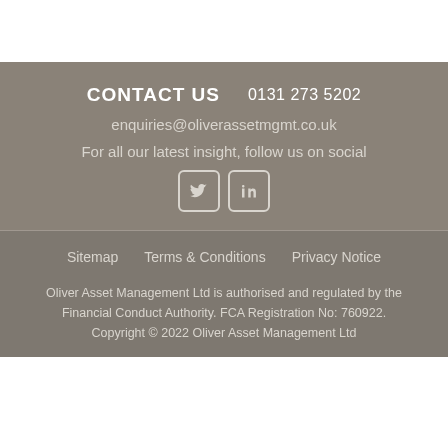CONTACT US   0131 273 5202
enquiries@oliverassetmgmt.co.uk
For all our latest insight, follow us on social
[Figure (illustration): Twitter and LinkedIn social media icons in rounded square boxes]
Sitemap     Terms & Conditions     Privacy Notice
Oliver Asset Management Ltd is authorised and regulated by the Financial Conduct Authority. FCA Registration No: 760922. Copyright © 2022 Oliver Asset Management Ltd